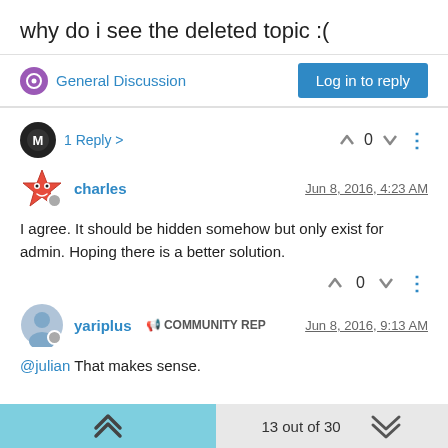why do i see the deleted topic :(
General Discussion
Log in to reply
1 Reply >
0
charles
Jun 8, 2016, 4:23 AM
I agree. It should be hidden somehow but only exist for admin. Hoping there is a better solution.
0
yariplus
COMMUNITY REP
Jun 8, 2016, 9:13 AM
@julian That makes sense.
13 out of 30